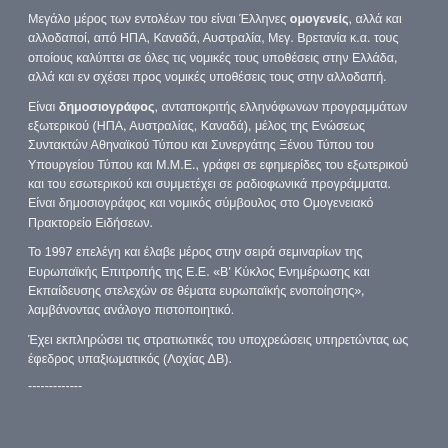Μεγάλο μέρος των εντολέων του είναι Έλληνες ομογενείς, αλλά και αλλοδαποί, από ΗΠΑ, Καναδά, Αυστραλία, Μεγ. Βρετανία κ.α. τους οποίους καλύπτει σε όλες τις νομικές τους υποθέσεις στην Ελλάδα, αλλά και εν σχέσει προς νομικές υποθέσεις τους στην αλλοδαπή.
Είναι δημοσιογράφος, ανταποκριτής ελληνόφωνων προγραμμάτων εξωτερικού (ΗΠΑ, Αυστραλίας, Καναδά), μέλος της Ενώσεως Συντακτών Αθηναϊκού Τύπου και Συνεργάτης Ξένου Τύπου του Υπουργείου Τύπου και Μ.Μ.Ε., γράφει σε εφημερίδες του εξωτερικού και του εσωτερικού και συμμετέχει σε ραδιοφωνικά προγράμματα. Είναι δημοσιογράφος και νομικός σύμβουλος στο Ομογενειακό Πρακτορείο Ειδήσεων.
Το 1997 επελέγη και έλαβε μέρος στην σειρά σεμιναρίων της Ευρωπαϊκής Επιτροπής της Ε.Ε. «Β' Κύκλος Ενημέρωσης και Εκπαίδευσης στελεχών σε θέματα ευρωπαϊκής ενοποίησης», λαμβάνοντας ανάλογο πιστοποιητικό.
Έχει εκπληρώσει τις στρατιωτικές του υποχρεώσεις υπηρετώντας ως έφεδρος υπαξιωματικός (Λοχίας ΔΒ).
-------------